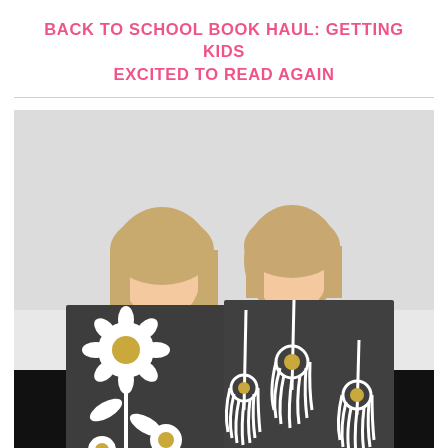BACK TO SCHOOL BOOK HAUL: GETTING KIDS EXCITED TO READ AGAIN
[Figure (photo): Two smiling pre-teen girls with blonde hair peeking over large dark grey canvas paintings featuring white and gold flower designs. They are seated on a black couch against a white wall.]